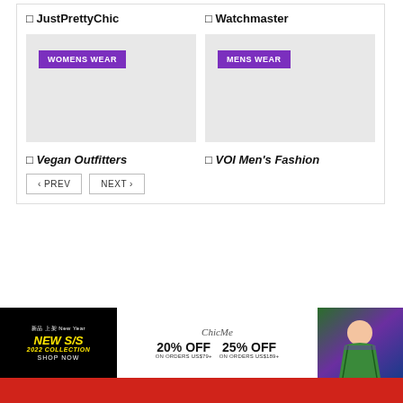□ JustPrettyChic
[Figure (illustration): Gray placeholder image with purple badge reading WOMENS WEAR]
□ Watchmaster
[Figure (illustration): Gray placeholder image with purple badge reading MENS WEAR]
□ Vegan Outfitters
□ VOI Men's Fashion
[Figure (screenshot): Advertisement banner for ChicMe: NEW S/S 2022 COLLECTION SHOP NOW, 20% OFF ON ORDERS US$79+, 25% OFF ON ORDERS US$189+, with fashion model photo on right]